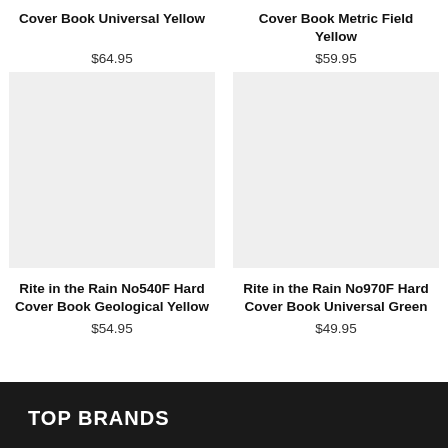Cover Book Universal Yellow
Cover Book Metric Field Yellow
$64.95
$59.95
[Figure (photo): Product image placeholder for Rite in the Rain No540F Hard Cover Book Geological Yellow]
[Figure (photo): Product image placeholder for Rite in the Rain No970F Hard Cover Book Universal Green]
Rite in the Rain No540F Hard Cover Book Geological Yellow
Rite in the Rain No970F Hard Cover Book Universal Green
$54.95
$49.95
TOP BRANDS